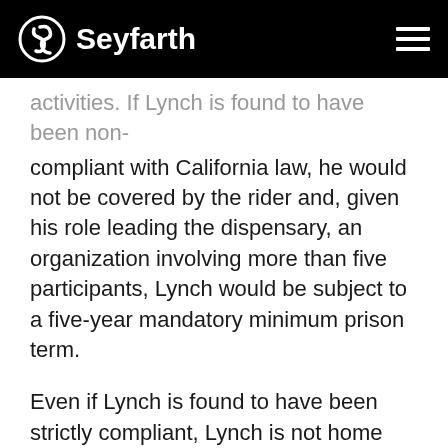Seyfarth
activities. If Lynch is found to have been non-compliant with California law, he would not be covered by the rider and, given his role leading the dispensary, an organization involving more than five participants, Lynch would be subject to a five-year mandatory minimum prison term.
Even if Lynch is found to have been strictly compliant, Lynch is not home free. The court will then need to address whether the rider provision operates to annul a conviction otherwise properly obtained before its passage (Lynch was convicted in 2008. The rider passed in 2015.).
Tags: California, rohrabacher-blumenauer amendment,